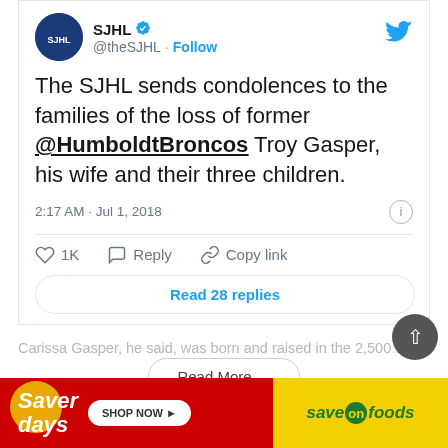[Figure (screenshot): Twitter/X post by SJHL (@theSJHL) with verified badge. Tweet text: 'The SJHL sends condolences to the families of the loss of former @HumboldtBroncos Troy Gasper, his wife and their three children.' Posted at 2:17 AM · Jul 1, 2018. Shows 1K likes, Reply, Copy link actions and 'Read 28 replies' button.]
Carissa Gasper, he said, was born and raised in the 2,500...
[Figure (screenshot): Read More dropdown button and navigation bar with Previous/Next story buttons and scroll-to-top button.]
[Figure (infographic): Save On Foods advertisement banner. Left red section: 'Saver days' with 'SHOP NOW' button. Right yellow section: 'save on foods' logo text.]